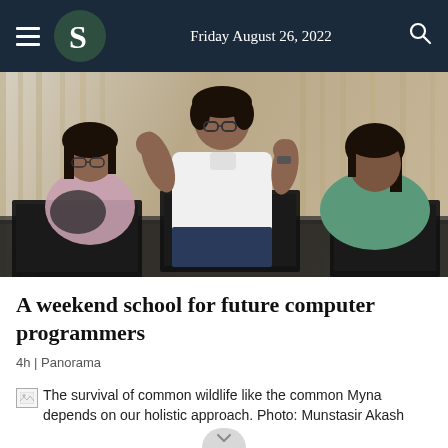Friday August 26, 2022
[Figure (photo): A teacher standing and gesturing with both hands while two female students work on laptops at a table in a classroom setting.]
A weekend school for future computer programmers
4h | Panorama
The survival of common wildlife like the common Myna depends on our holistic approach. Photo: Munstasir Akash